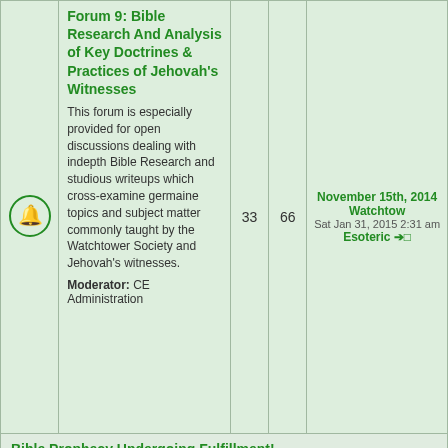|  | Forum | Topics | Posts | Last Post |
| --- | --- | --- | --- | --- |
| [icon] | Forum 9: Bible Research And Analysis of Key Doctrines & Practices of Jehovah's Witnesses
This forum is especially provided for open discussions dealing with indepth Bible Research and studious writeups which cross-examine germaine topics and subject matter commonly taught by the Watchtower Society and Jehovah's witnesses.
Moderator: CE Administration | 33 | 66 | November 15th, 2014 Watchtow
Sat Jan 31, 2015 2:31 am
Esoteric →□ |
| Bible Prophecy Undergoing Fulfillment! |  |  |  |  |
| [icon] | Forum 10: Amazing Bible Prophecy Undergoing Fulfillment |  |  |  |